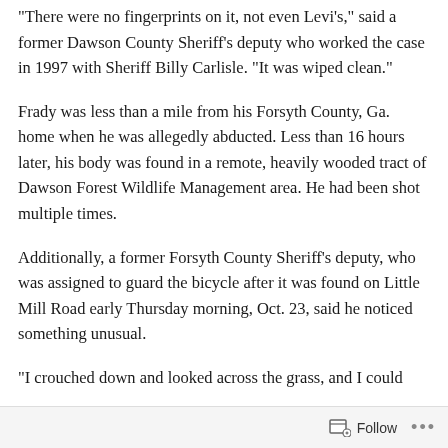“There were no fingerprints on it, not even Levi’s,” said a former Dawson County Sheriff’s deputy who worked the case in 1997 with Sheriff Billy Carlisle. “It was wiped clean.”
Frady was less than a mile from his Forsyth County, Ga. home when he was allegedly abducted. Less than 16 hours later, his body was found in a remote, heavily wooded tract of Dawson Forest Wildlife Management area. He had been shot multiple times.
Additionally, a former Forsyth County Sheriff’s deputy, who was assigned to guard the bicycle after it was found on Little Mill Road early Thursday morning, Oct. 23, said he noticed something unusual.
“I crouched down and looked across the grass, and I could
Follow …